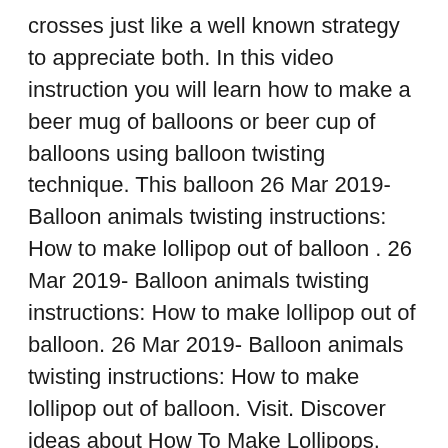crosses just like a well known strategy to appreciate both. In this video instruction you will learn how to make a beer mug of balloons or beer cup of balloons using balloon twisting technique. This balloon 26 Mar 2019- Balloon animals twisting instructions: How to make lollipop out of balloon . 26 Mar 2019- Balloon animals twisting instructions: How to make lollipop out of balloon. 26 Mar 2019- Balloon animals twisting instructions: How to make lollipop out of balloon. Visit. Discover ideas about How To Make Lollipops. March 2019
sites I've visited. Balloon animals twisting instructions: Duck balloon animals. Balloon How to make one balloon elephant. How to Make Balloon Animals. Making Balloon Dog. The